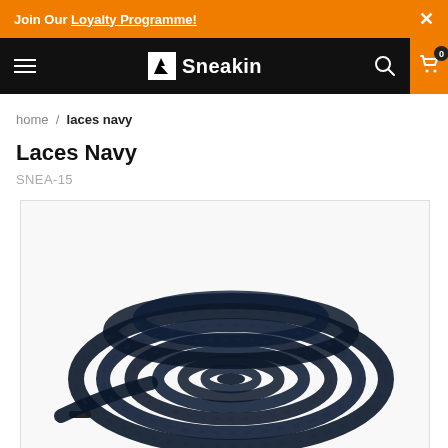Join Our Loyalty Programme! ×
Sneakin — navigation bar with hamburger menu, search, and cart (0 items)
home / laces navy
Laces Navy
SNEA-15
[Figure (photo): Coiled navy blue flat shoelaces photographed from above on a white background, showing the textured woven fabric and aglets.]